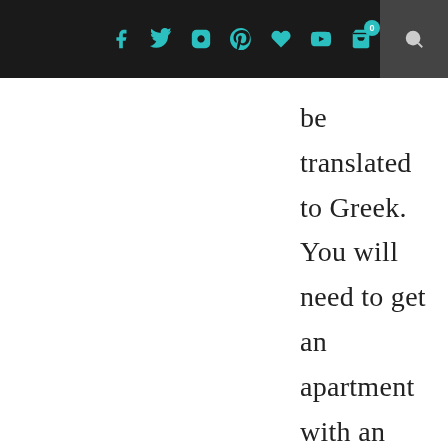Social media navigation bar with icons: Facebook, Twitter, Instagram, Pinterest, Heart, YouTube, Cart (0), Search
be translated to Greek. You will need to get an apartment with an AFM, which is a tax number. The contract here...